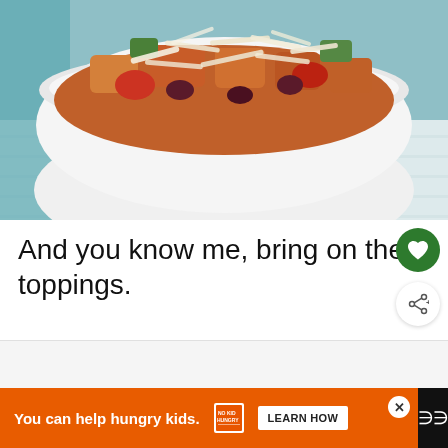[Figure (photo): A white bowl filled with roasted vegetables, chicken chunks, olives, and shredded Parmesan cheese on top, placed on a light blue/white wooden surface.]
And you know me, bring on the toppings.
[Figure (other): Green circular heart/favorite button and a circular share button with share icon]
[Figure (other): What's Next card showing thumbnail and text: 12 Ways to Use Cooked,...]
[Figure (other): Advertisement banner: You can help hungry kids. No Kid Hungry. LEARN HOW button.]